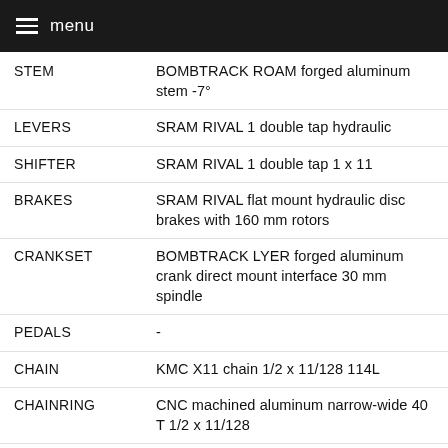menu
| STEM | BOMBTRACK ROAM forged aluminum stem -7° |
| LEVERS | SRAM RIVAL 1 double tap hydraulic |
| SHIFTER | SRAM RIVAL 1 double tap 1 x 11 |
| BRAKES | SRAM RIVAL flat mount hydraulic disc brakes with 160 mm rotors |
| CRANKSET | BOMBTRACK LYER forged aluminum crank direct mount interface 30 mm spindle |
| PEDALS | - |
| CHAIN | KMC X11 chain 1/2 x 11/128 114L |
| CHAINRING | CNC machined aluminum narrow-wide 40 T 1/2 x 11/128 |
| CASSETTE | SRAM PG-1130 11-speed cassette 11 - 42 T |
| FRONT DERAILLEUR | - |
| REAR DERAILLEUR | SRAM RIVAL 1 rear derailleur clutch long cage |
| FRONT HUB | BOMBTRACK ORIGIN sealed disc hub 12 x 100 mm thru-axle |